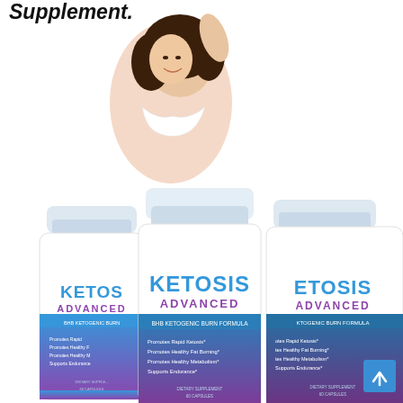Supplement.
[Figure (photo): A smiling woman in a white bikini top with three bottles of Ketosis Advanced BHB Ketogenic Burn Formula dietary supplement (60 capsules each). The bottles show blue and purple branding with text: Promotes Rapid Ketosis*, Promotes Healthy Fat Burning*, Promotes Healthy Metabolism*, Supports Endurance*. A blue scroll-to-top button is visible in the bottom right corner.]